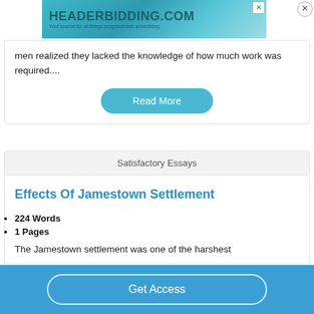[Figure (screenshot): HeaderBidding.com advertisement banner with teal gradient background]
men realized they lacked the knowledge of how much work was required....
Read More
Satisfactory Essays
Effects Of Jamestown Settlement
224 Words
1 Pages
The Jamestown settlement was one of the harshest
Get Access